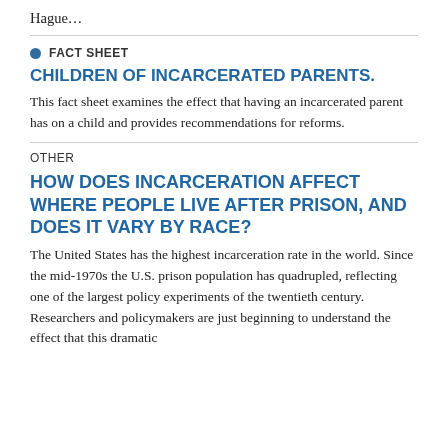Hague…
FACT SHEET
CHILDREN OF INCARCERATED PARENTS.
This fact sheet examines the effect that having an incarcerated parent has on a child and provides recommendations for reforms.
OTHER
HOW DOES INCARCERATION AFFECT WHERE PEOPLE LIVE AFTER PRISON, AND DOES IT VARY BY RACE?
The United States has the highest incarceration rate in the world. Since the mid-1970s the U.S. prison population has quadrupled, reflecting one of the largest policy experiments of the twentieth century. Researchers and policymakers are just beginning to understand the effect that this dramatic